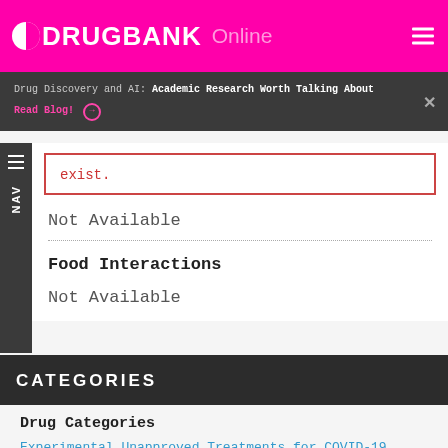DRUGBANK Online
Drug Discovery and AI: Academic Research Worth Talking About
Read Blog!
exist.
Not Available
Food Interactions
Not Available
CATEGORIES
Drug Categories
Experimental Unapproved Treatments for COVID-19